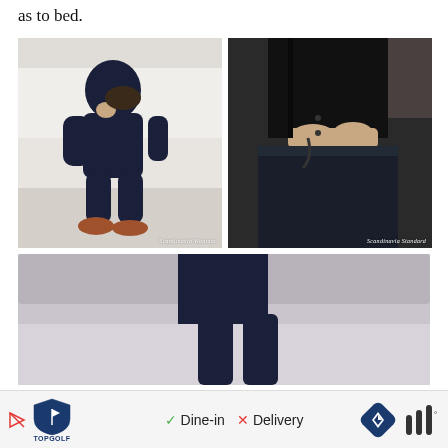as to bed.
[Figure (photo): Woman in dark navy hoodie and pants sitting hunched on a white couch, wearing brown pointed shoes. Watermark: Scandinavia Wantant]
[Figure (photo): Close-up of a person in black shirt and dark pants, hands gripping fabric at the waist. Watermark: Scandinavia Standard]
[Figure (photo): Bottom portion of a person in navy outfit sitting, partial view]
Dine-in  Delivery